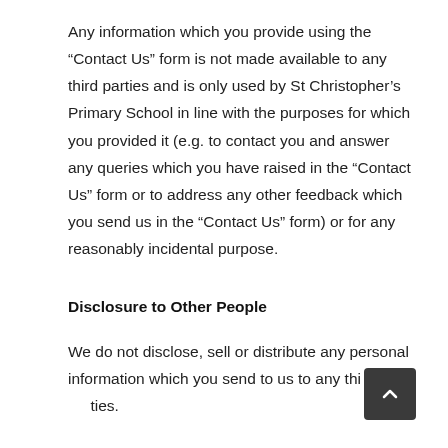Any information which you provide using the “Contact Us” form is not made available to any third parties and is only used by St Christopher’s Primary School in line with the purposes for which you provided it (e.g. to contact you and answer any queries which you have raised in the “Contact Us” form or to address any other feedback which you send us in the “Contact Us” form) or for any reasonably incidental purpose.
Disclosure to Other People
We do not disclose, sell or distribute any personal information which you send to us to any third parties.